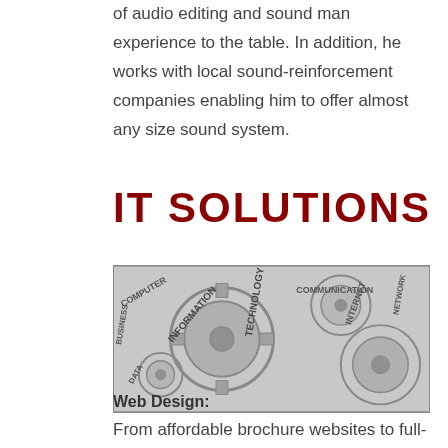of audio editing and sound man experience to the table. In addition, he works with local sound-reinforcement companies enabling him to offer almost any size sound system.
IT SOLUTIONS
[Figure (photo): Black and white photo of interlocking gears with technology-related words embossed: COMPUTER, COMMUNICATION, NETWORK, INTERNET, TECHNOLOGY, INFORMATION, BUSINESS, DATA]
Web Design:
From affordable brochure websites to full-blown interactive shopping cart sites,